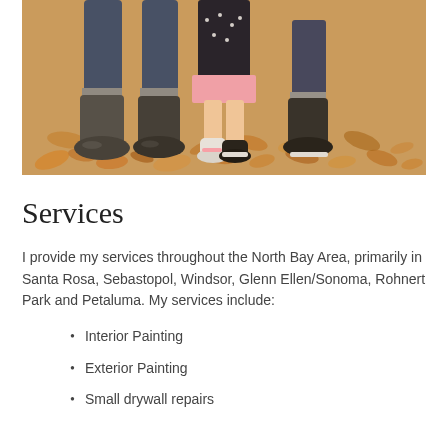[Figure (photo): Photo showing feet and legs of people standing on autumn leaves — adult boots and children's sneakers visible]
Services
I provide my services throughout the North Bay Area, primarily in Santa Rosa, Sebastopol, Windsor, Glenn Ellen/Sonoma, Rohnert Park and Petaluma. My services include:
Interior Painting
Exterior Painting
Small drywall repairs